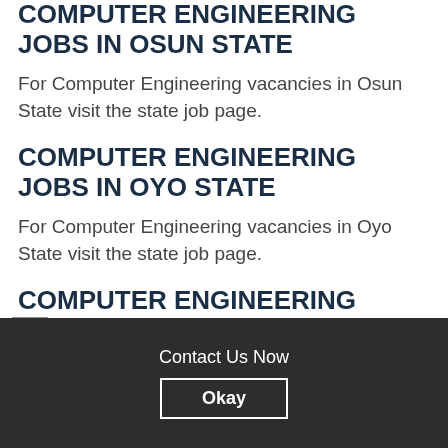COMPUTER ENGINEERING JOBS IN OSUN STATE
For Computer Engineering vacancies in Osun State visit the state job page.
COMPUTER ENGINEERING JOBS IN OYO STATE
For Computer Engineering vacancies in Oyo State visit the state job page.
COMPUTER ENGINEERING JOBS IN ONDO STATE
For Computer Engineering vacancies in Ondo
Contact Us Now
Okay